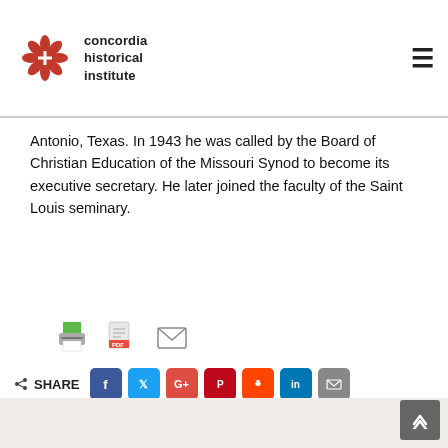concordia historical institute
Antonio, Texas. In 1943 he was called by the Board of Christian Education of the Missouri Synod to become its executive secretary. He later joined the faculty of the Saint Louis seminary.
[Figure (other): Row of three icons: print icon, PDF icon, and email/envelope icon]
[Figure (other): Social share buttons row: SHARE label with share icon, then buttons for Facebook, Twitter, Google+, Pinterest, Reddit, LinkedIn, Email]
[Figure (other): Back to top button (dark grey, chevron up arrow) in bottom-right corner]